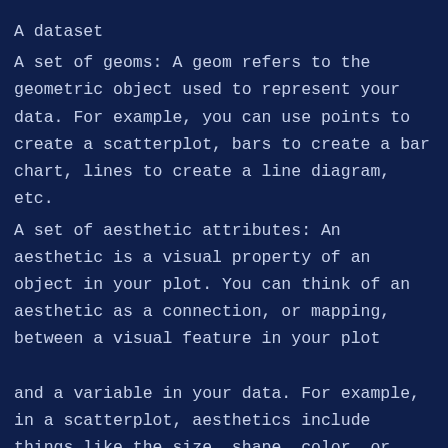A dataset
A set of geoms: A geom refers to the geometric object used to represent your data. For example, you can use points to create a scatterplot, bars to create a bar chart, lines to create a line diagram, etc.
A set of aesthetic attributes: An aesthetic is a visual property of an object in your plot. You can think of an aesthetic as a connection, or mapping, between a visual feature in your plot and a variable in your data. For example, in a scatterplot, aesthetics include things like the size, shape, color, or location (x-axis, y-axis) of your data points.
To create a plot with ggplot2, you first choose a dataset. Then, you determine how to visually organize